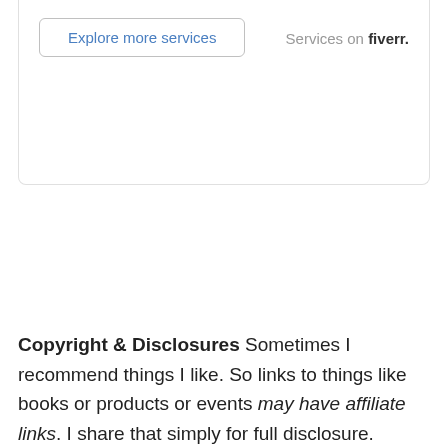[Figure (screenshot): A card/widget with an 'Explore more services' button on the left and 'Services on fiverr.' text on the right, inside a bordered box.]
Copyright & Disclosures Sometimes I recommend things I like. So links to things like books or products or events may have affiliate links. I share that simply for full disclosure.